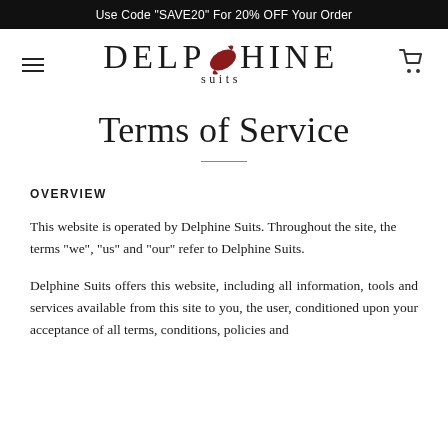Use Code "SAVE20" For 20% OFF Your Order
[Figure (logo): Delphine Suits logo with dolphin graphic in red, word DELPHINE in large serif font, SUITS in smaller spaced letters below]
Terms of Service
OVERVIEW
This website is operated by Delphine Suits. Throughout the site, the terms “we”, “us” and “our” refer to Delphine Suits.
Delphine Suits offers this website, including all information, tools and services available from this site to you, the user, conditioned upon your acceptance of all terms, conditions, policies and